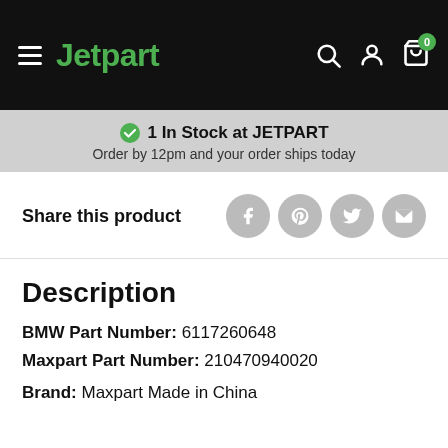Jetpart
1 In Stock at JETPART
Order by 12pm and your order ships today
Share this product
Description
BMW Part Number: 6117260648
Maxpart Part Number: 210470940020
Brand: Maxpart Made in China